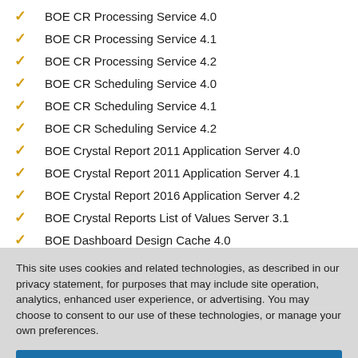BOE CR Processing Service 4.0
BOE CR Processing Service 4.1
BOE CR Processing Service 4.2
BOE CR Scheduling Service 4.0
BOE CR Scheduling Service 4.1
BOE CR Scheduling Service 4.2
BOE Crystal Report 2011 Application Server 4.0
BOE Crystal Report 2011 Application Server 4.1
BOE Crystal Report 2016 Application Server 4.2
BOE Crystal Reports List of Values Server 3.1
BOE Dashboard Design Cache 4.0
This site uses cookies and related technologies, as described in our privacy statement, for purposes that may include site operation, analytics, enhanced user experience, or advertising. You may choose to consent to our use of these technologies, or manage your own preferences.
Accept Cookies
More Information
Privacy Policy | Powered by: TrustArc